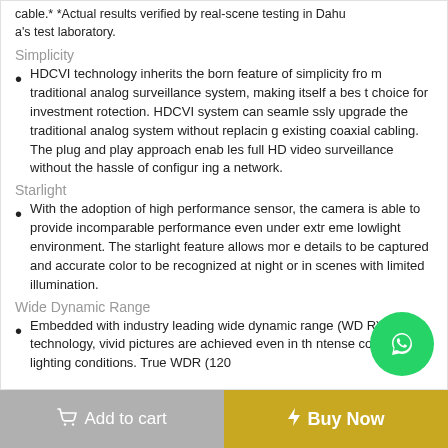cable.* *Actual results verified by real-scene testing in Dahua's test laboratory.
Simplicity
HDCVI technology inherits the born feature of simplicity from traditional analog surveillance system, making itself a best choice for investment rotection. HDCVI system can seamlessly upgrade the traditional analog system without replacing existing coaxial cabling. The plug and play approach enables full HD video surveillance without the hassle of configuring a network.
Starlight
With the adoption of high performance sensor, the camera is able to provide incomparable performance even under extreme lowlight environment. The starlight feature allows more details to be captured and accurate color to be recognized at night or in scenes with limited illumination.
Wide Dynamic Range
Embedded with industry leading wide dynamic range (WDR) technology, vivid pictures are achieved even in the intense contrast lighting conditions. True WDR (120d...
Add to cart   Buy Now